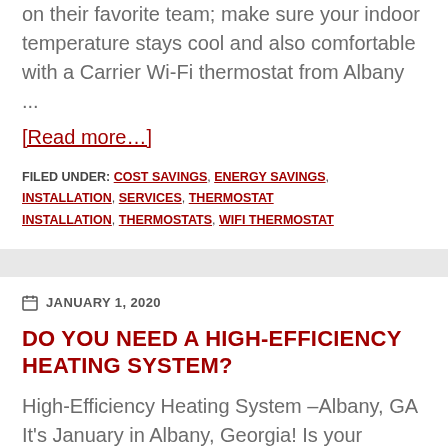on their favorite team; make sure your indoor temperature stays cool and also comfortable with a Carrier Wi-Fi thermostat from Albany ...
[Read more…]
FILED UNDER: COST SAVINGS, ENERGY SAVINGS, INSTALLATION, SERVICES, THERMOSTAT INSTALLATION, THERMOSTATS, WIFI THERMOSTAT
JANUARY 1, 2020
DO YOU NEED A HIGH-EFFICIENCY HEATING SYSTEM?
High-Efficiency Heating System –Albany, GA It's January in Albany, Georgia! Is your heating system is not able to keep your